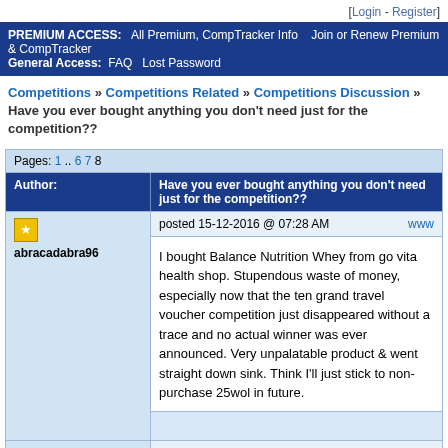[Login - Register]
PREMIUM ACCESS: All Premium, CompTracker Info Join or Renew Premium & CompTracker General Access: FAQ Lost Password
Competitions » Competitions Related » Competitions Discussion » Have you ever bought anything you don't need just for the competition??
Pages: 1 .. 6 7 8
| Author: | Have you ever bought anything you don't need just for the competition?? |
| --- | --- |
| abracadabra96 | posted 15-12-2016 @ 07:28 AM  www

I bought Balance Nutrition Whey from go vita health shop. Stupendous waste of money, especially now that the ten grand travel voucher competition just disappeared without a trace and no actual winner was ever announced. Very unpalatable product & went straight down sink. Think I'll just stick to non-purchase 25wol in future. |
| IDreamOf | posted 15-12-2016 @ 07:34 AM  www |